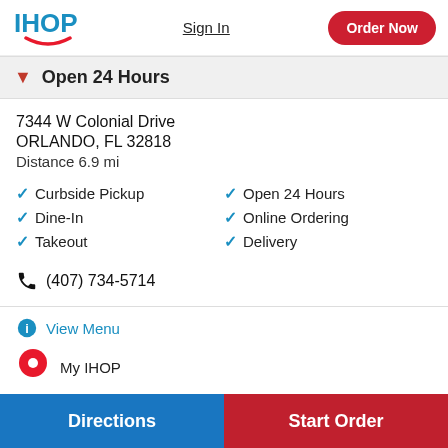[Figure (logo): IHOP logo with blue text and red smile arc]
Sign In
Order Now
Open 24 Hours
7344 W Colonial Drive
ORLANDO, FL 32818
Distance 6.9 mi
Curbside Pickup
Dine-In
Takeout
Open 24 Hours
Online Ordering
Delivery
(407) 734-5714
View Menu
My IHOP
Directions
Start Order